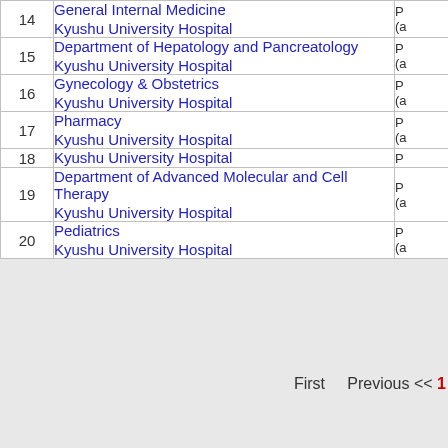| # | Department / Hospital | Info |
| --- | --- | --- |
| 14 | General Internal Medicine
Kyushu University Hospital | P
(a |
| 15 | Department of Hepatology and Pancreatology
Kyushu University Hospital | P
(a |
| 16 | Gynecology & Obstetrics
Kyushu University Hospital | P
(a |
| 17 | Pharmacy
Kyushu University Hospital | P
(a |
| 18 | Kyushu University Hospital | P |
| 19 | Department of Advanced Molecular and Cell Therapy
Kyushu University Hospital | P
(a |
| 20 | Pediatrics
Kyushu University Hospital | P
(a |
First   Previous << 1